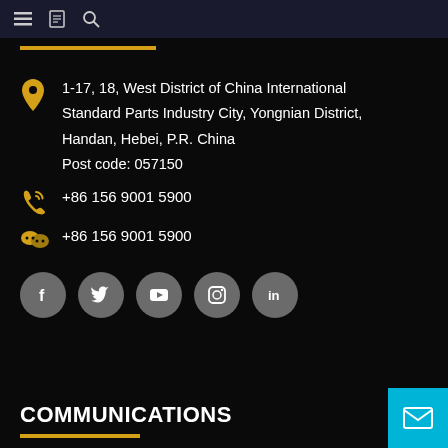Navigation bar with menu, book, and search icons
1-17, 18, West District of China International Standard Parts Industry City, Yongnian District, Handan, Hebei, P.R. China
Post code: 057150
+86 156 9001 5900
+86 156 9001 5900
[Figure (infographic): Social media icons: Facebook, Twitter, YouTube, Instagram, LinkedIn — all gray circles with white icons]
COMMUNICATIONS